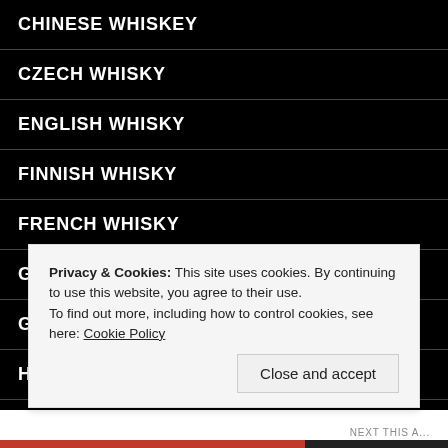CHINESE WHISKEY
CZECH WHISKY
ENGLISH WHISKY
FINNISH WHISKY
FRENCH WHISKY
GALWAY WHISKEY TRAIL
GERMAN WHISKY
HUNGARIAN WHISKY
ICELANDIC WHISKY
Privacy & Cookies: This site uses cookies. By continuing to use this website, you agree to their use. To find out more, including how to control cookies, see here: Cookie Policy
Close and accept